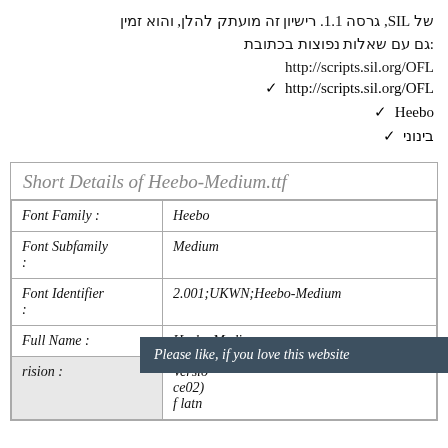של SIL, גרסה 1.1. רישיון זה מועתק להלן, והוא זמין גם עם שאלות נפוצות בכתובת:
http://scripts.sil.org/OFL
✓ http://scripts.sil.org/OFL
✓ Heebo
✓ בינוני
|  |  |
| --- | --- |
| Font Family : | Heebo |
| Font Subfamily : | Medium |
| Font Identifier : | 2.001;UKWN;Heebo-Medium |
| Full Name : | Heebo Medium |
| Version : | Versio ce02) f latn |
Please like, if you love this website